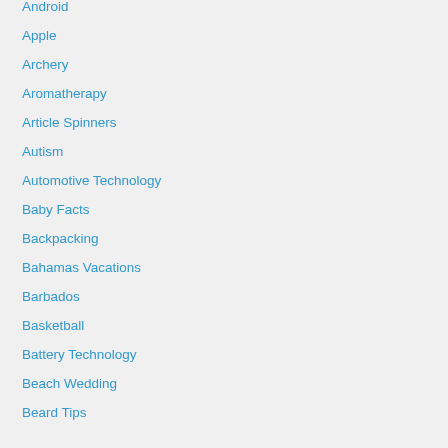Android
Apple
Archery
Aromatherapy
Article Spinners
Autism
Automotive Technology
Baby Facts
Backpacking
Bahamas Vacations
Barbados
Basketball
Battery Technology
Beach Wedding
Beard Tips